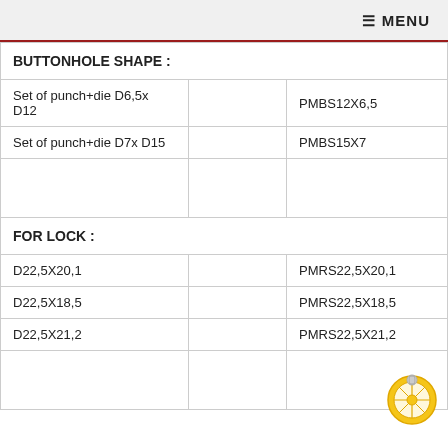≡ MENU
| BUTTONHOLE SHAPE : |  |  |
| Set of punch+die D6,5x D12 |  | PMBS12X6,5 |
| Set of punch+die D7x D15 |  | PMBS15X7 |
|  |  |  |
| FOR LOCK : |  |  |
| D22,5X20,1 |  | PMRS22,5X20,1 |
| D22,5X18,5 |  | PMRS22,5X18,5 |
| D22,5X21,2 |  | PMRS22,5X21,2 |